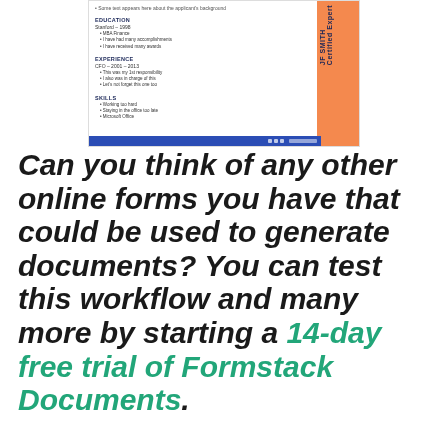[Figure (screenshot): Screenshot of a resume document in a web browser, showing sections for EDUCATION, EXPERIENCE, and SKILLS. The resume has an orange sidebar on the right with text 'JF SMITH' vertically. The browser has a blue bottom bar.]
Can you think of any other online forms you have that could be used to generate documents? You can test this workflow and many more by starting a 14-day free trial of Formstack Documents.